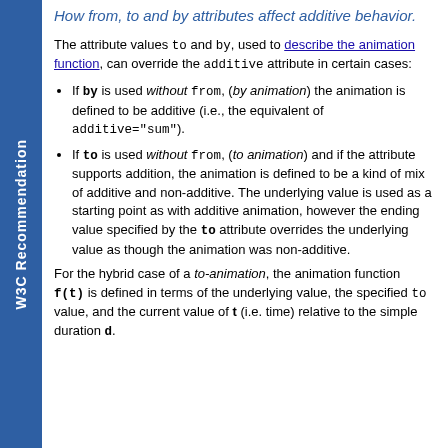W3C Recommendation
How from, to and by attributes affect additive behavior.
The attribute values to and by, used to describe the animation function, can override the additive attribute in certain cases:
If by is used without from, (by animation) the animation is defined to be additive (i.e., the equivalent of additive="sum").
If to is used without from, (to animation) and if the attribute supports addition, the animation is defined to be a kind of mix of additive and non-additive. The underlying value is used as a starting point as with additive animation, however the ending value specified by the to attribute overrides the underlying value as though the animation was non-additive.
For the hybrid case of a to-animation, the animation function f(t) is defined in terms of the underlying value, the specified to value, and the current value of t (i.e. time) relative to the simple duration d.